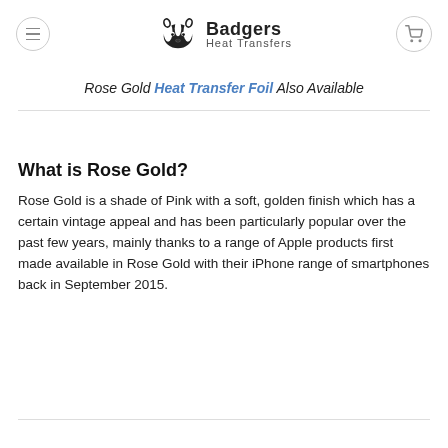Badgers Heat Transfers
Rose Gold Heat Transfer Foil Also Available
What is Rose Gold?
Rose Gold is a shade of Pink with a soft, golden finish which has a certain vintage appeal and has been particularly popular over the past few years, mainly thanks to a range of Apple products first made available in Rose Gold with their iPhone range of smartphones back in September 2015.